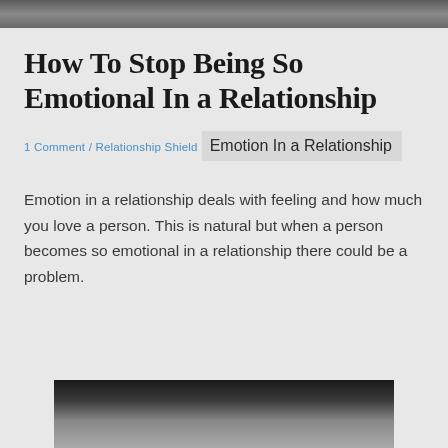[Figure (photo): Top portion of a grayscale photo of a person or scene, cropped at the top of the page]
How To Stop Being So Emotional In a Relationship
1 Comment / Relationship Shield
Emotion In a Relationship
Emotion in a relationship deals with feeling and how much you love a person. This is natural but when a person becomes so emotional in a relationship there could be a problem.
[Figure (photo): Bottom portion of a grayscale photo, partially visible at bottom of page]